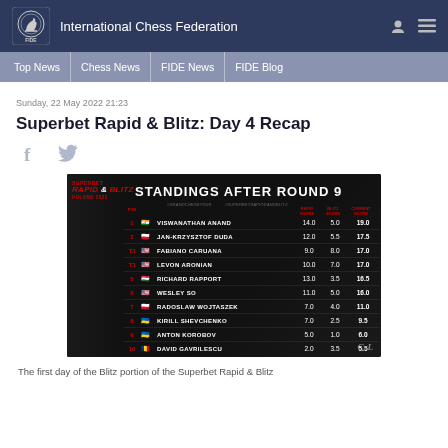International Chess Federation
Top News | Chess News | FIDE News | FIDE Blog
Sunday, 22 May 2022 21:23
Superbet Rapid & Blitz: Day 4 Recap
[Figure (table-as-image): Standings After Round 9 table showing player rankings with Rapid Score, Blitz Score, and Current Score for the Superbet Rapid & Blitz Poland 2022 tournament. Players: 1. Viswanathan Anand 14.0 5.0 19.0, 2. Jan-Krzysztof Duda 12.0 5.5 17.5, T3. Fabiano Caruana 9.0 8.0 17.0, T3. Levon Aronian 10.0 7.0 17.0, 5. Richard Rapport 13.0 3.5 16.5, 6. Wesley So 11.0 5.0 16.0, 7. Radoslaw Wojtaszek 7.0 4.0 11.0, 8. Kirill Shevchenko 7.0 2.5 9.5, 9. Anton Korobov 5.0 1.0 6.0, 10. David Gavrilescu 2.0 3.5 5.5]
The first day of the Blitz portion of the Superbet Rapid & Blitz